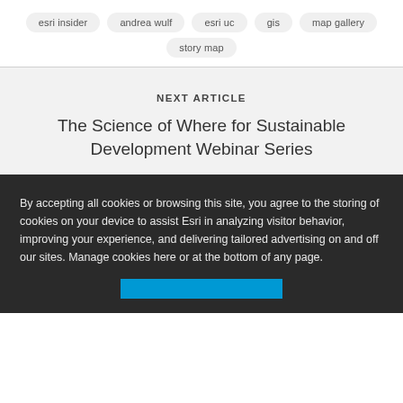esri insider
andrea wulf
esri uc
gis
map gallery
story map
NEXT ARTICLE
The Science of Where for Sustainable Development Webinar Series
By accepting all cookies or browsing this site, you agree to the storing of cookies on your device to assist Esri in analyzing visitor behavior, improving your experience, and delivering tailored advertising on and off our sites. Manage cookies here or at the bottom of any page.